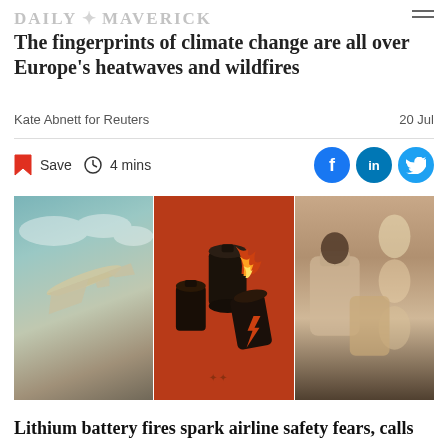DAILY MAVERICK
The fingerprints of climate change are all over Europe's heatwaves and wildfires
Kate Abnett for Reuters
20 Jul
Save  4 mins
[Figure (photo): Three-panel image: left panel shows an airplane viewed from below against a cloudy sky; center panel shows a graphic/illustration of lithium batteries with flames on a red/orange background; right panel shows passengers seated inside an airplane cabin.]
Lithium battery fires spark airline safety fears, calls